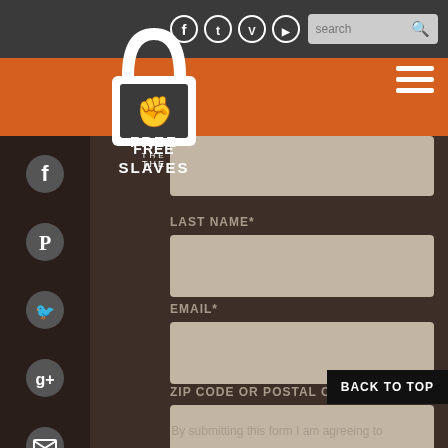[Figure (screenshot): Website header with dark background, social media icons (Facebook, Twitter, Vimeo, YouTube), search bar, and Free the Slaves logo]
[Figure (logo): Free the Slaves logo - padlock with fist, white on dark background, text FREE THE SLAVES]
[Figure (infographic): Left sidebar with social media icons: Facebook, Pinterest, Twitter, Google+, Email]
LAST NAME*
EMAIL*
ZIP CODE OR POSTAL CODE
BACK TO TOP
By submitting this form I am agreeing to